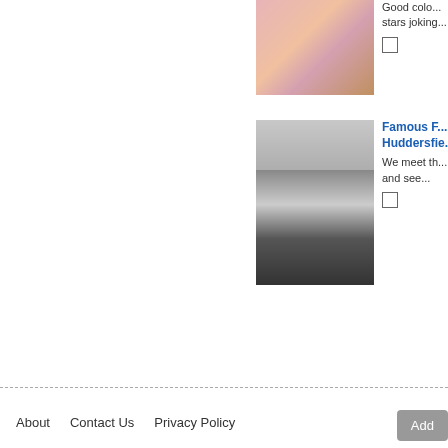[Figure (photo): Color photo of people (stars joking), partially cropped]
Good colo... stars joking...
[Figure (photo): Black and white photo of a footballer in black and white striped shirt on a football pitch]
Famous F... Huddersfie...
We meet th... and see...
Add
About   Contact Us   Privacy Policy